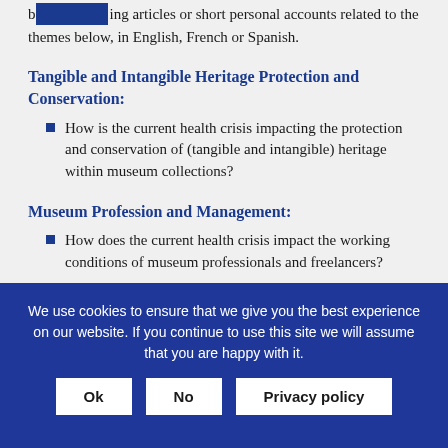by [logo] ing articles or short personal accounts related to the themes below, in English, French or Spanish.
Tangible and Intangible Heritage Protection and Conservation:
How is the current health crisis impacting the protection and conservation of (tangible and intangible) heritage within museum collections?
Museum Profession and Management:
How does the current health crisis impact the working conditions of museum professionals and freelancers?
Which issues are they confronted with?
Which internal or external solutions can be considered?
Have governments implemented emergency measures to support
We use cookies to ensure that we give you the best experience on our website. If you continue to use this site we will assume that you are happy with it.
Ok | No | Privacy policy